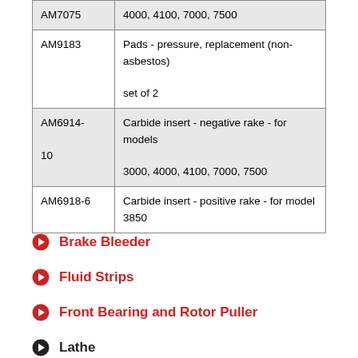| Part Number | Description |
| --- | --- |
| AM7075 | 4000, 4100, 7000, 7500 |
| AM9183 | Pads - pressure, replacement (non-asbestos)
set of 2 |
| AM6914-10 | Carbide insert - negative rake - for models 3000, 4000, 4100, 7000, 7500 |
| AM6918-6 | Carbide insert - positive rake - for model 3850 |
Brake Bleeder
Fluid Strips
Front Bearing and Rotor Puller
Lathe